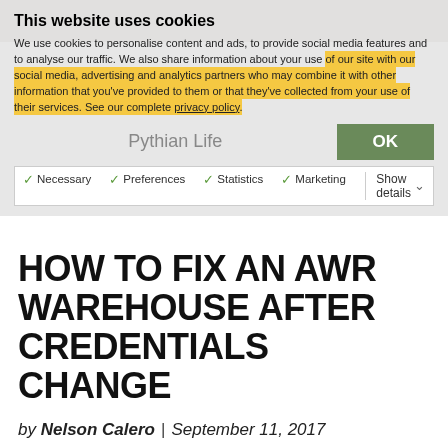[Figure (screenshot): Cookie consent overlay on a website with title 'This website uses cookies', body text about personalisation and privacy, Pythian Life navigation, OK button, and consent checkboxes for Necessary, Preferences, Statistics, Marketing with Show details option.]
HOW TO FIX AN AWR WAREHOUSE AFTER CREDENTIALS CHANGE
by Nelson Calero | September 11, 2017
Posted in: Oracle, Technical Track
Tags: AWR configuration, AWR Warehouse